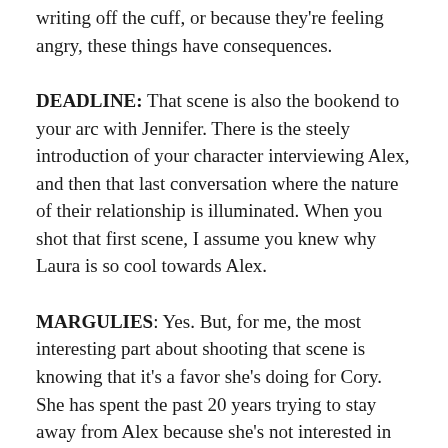writing off the cuff, or because they're feeling angry, these things have consequences.
DEADLINE: That scene is also the bookend to your arc with Jennifer. There is the steely introduction of your character interviewing Alex, and then that last conversation where the nature of their relationship is illuminated. When you shot that first scene, I assume you knew why Laura is so cool towards Alex.
MARGULIES: Yes. But, for me, the most interesting part about shooting that scene is knowing that it's a favor she's doing for Cory. She has spent the past 20 years trying to stay away from Alex because she's not interested in hanging out with her. It's not so much that Laura dislikes Alex. It's that Alex has nothing to offer Laura, so Laura's just going to stay away. What I loved about the power